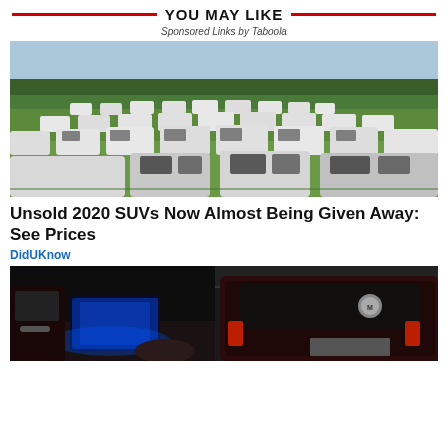YOU MAY LIKE
Sponsored Links by Taboola
[Figure (photo): Large field filled with rows of unsold white SUVs and trucks parked on grass]
Unsold 2020 SUVs Now Almost Being Given Away: See Prices
DidUKnow
[Figure (photo): Interior and exterior view of a dark luxury SUV with open doors, interior lighting visible]